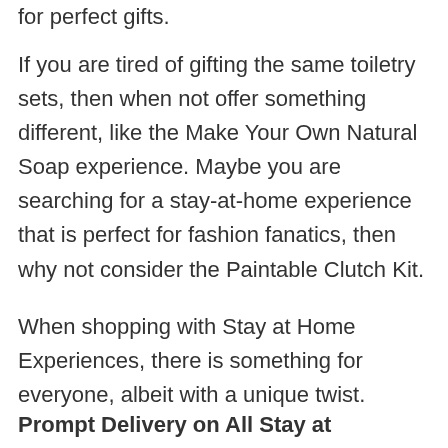for perfect gifts.
If you are tired of gifting the same toiletry sets, then when not offer something different, like the Make Your Own Natural Soap experience. Maybe you are searching for a stay-at-home experience that is perfect for fashion fanatics, then why not consider the Paintable Clutch Kit.
When shopping with Stay at Home Experiences, there is something for everyone, albeit with a unique twist.
Prompt Delivery on All Stay at